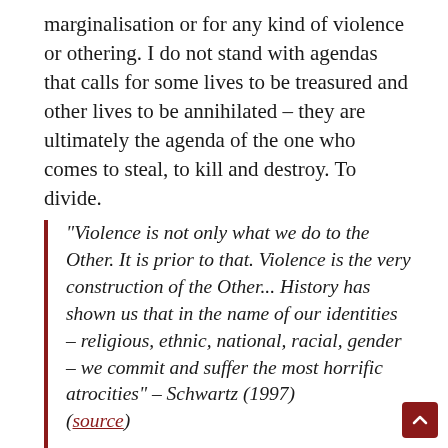marginalisation or for any kind of violence or othering. I do not stand with agendas that calls for some lives to be treasured and other lives to be annihilated - they are ultimately the agenda of the one who comes to steal, to kill and destroy. To divide.
“Violence is not only what we do to the Other. It is prior to that. Violence is the very construction of the Other... History has shown us that in the name of our identities – religious, ethnic, national, racial, gender – we commit and suffer the most horrific atrocities” – Schwartz (1997) (source)